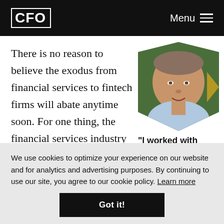CFO | Menu
There is no reason to believe the exodus from financial services to fintech firms will abate anytime soon. For one thing, the financial services industry is not
[Figure (photo): Headshot of a middle-aged man smiling, wearing a light blue shirt, with green foliage background, displayed in a hexagonal/chevron crop]
“I worked with some of the smartest,
We use cookies to optimize your experience on our website and for analytics and advertising purposes. By continuing to use our site, you agree to our cookie policy. Learn more
Got it!